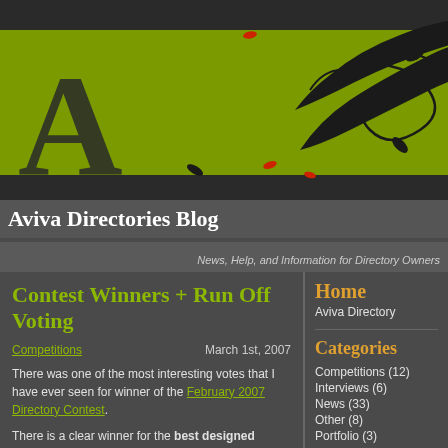[Figure (illustration): Blog header banner with olive/yellow-green background featuring an illustrated woman with long flowing black hair, an orange butterfly hair accessory, decorative swirls and leaves, and a large dark letter 'A' on the left side.]
Aviva Directories Blog
News, Help, and Information for Directory Owners
Contest Winners + Run Off Voting
Competitions   March 1st, 2007
There was one of the most interesting votes that I have ever seen for winner of the February 2007 Directory Contest.
There is a clear winner for the best designed
Home
Aviva Directory
Categories
Competitions (12)
Interviews (6)
News (33)
Other (8)
Portfolio (3)